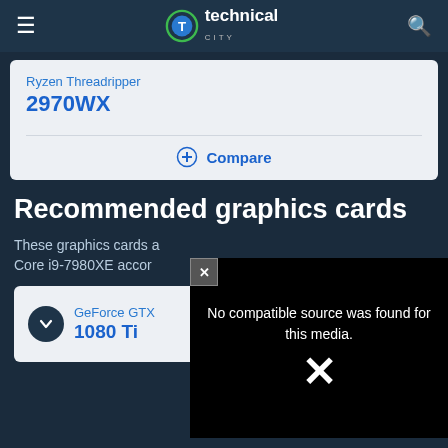Technical City
Ryzen Threadripper
2970WX
Compare
Recommended graphics cards
These graphics cards are recommended for use with the Core i9-7980XE according to...
[Figure (screenshot): Video player showing error: No compatible source was found for this media.]
GeForce GTX
1080 Ti
7%